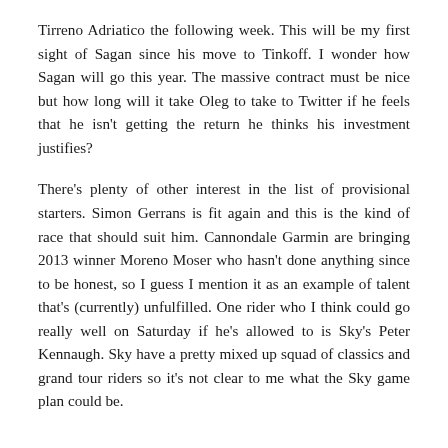Tirreno Adriatico the following week. This will be my first sight of Sagan since his move to Tinkoff. I wonder how Sagan will go this year. The massive contract must be nice but how long will it take Oleg to take to Twitter if he feels that he isn't getting the return he thinks his investment justifies?
There's plenty of other interest in the list of provisional starters. Simon Gerrans is fit again and this is the kind of race that should suit him. Cannondale Garmin are bringing 2013 winner Moreno Moser who hasn't done anything since to be honest, so I guess I mention it as an example of talent that's (currently) unfulfilled. One rider who I think could go really well on Saturday if he's allowed to is Sky's Peter Kennaugh. Sky have a pretty mixed up squad of classics and grand tour riders so it's not clear to me what the Sky game plan could be.